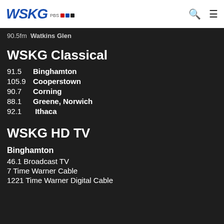WSKG PBS [logo with search and menu icons]
90.5fm  Watkins Glen
WSKG Classical
91.5    Binghamton
105.9  Cooperstown
90.7    Corning
88.1    Greene, Norwich
92.1    Ithaca
WSKG HD TV
Binghamton
46.1 Broadcast TV
7 Time Warner Cable
1221 Time Warner Digital Cable